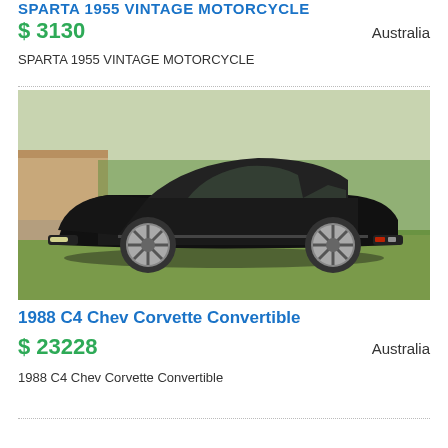SPARTA 1955 VINTAGE MOTORCYCLE
$ 3130    Australia
SPARTA 1955 VINTAGE MOTORCYCLE
[Figure (photo): Black 1988 C4 Chevrolet Corvette Convertible parked on grass, side profile view]
1988 C4 Chev Corvette Convertible
$ 23228    Australia
1988 C4 Chev Corvette Convertible